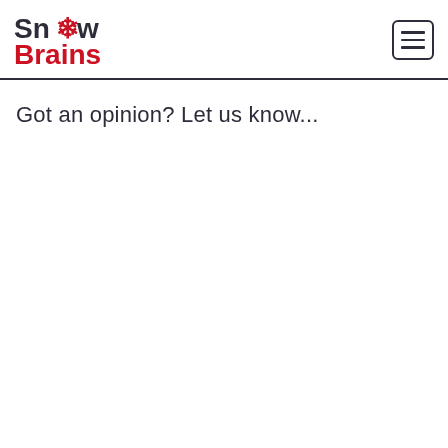Snow Brains
Got an opinion? Let us know...